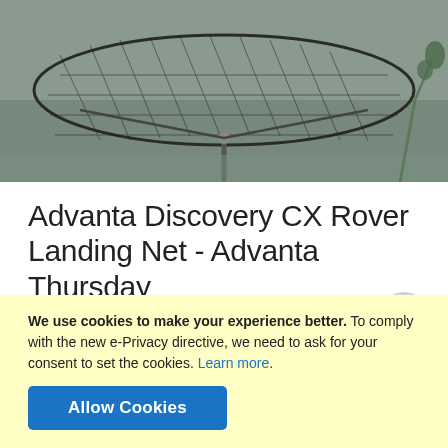[Figure (photo): A fishing landing net photographed from above, resting on water, with netting visible and some aquatic vegetation in background. Gray/green tones.]
Advanta Discovery CX Rover Landing Net - Advanta Thursday
by Anna Cooper
When it comes to carp angling, a reliable landing net is definitely a must-have, and Advanta have some of the best in the business. The Advanta Discovery CX range is all about carp fishing, with a focus on creating tackle that's at the forefront of
Continue reading →
We use cookies to make your experience better. To comply with the new e-Privacy directive, we need to ask for your consent to set the cookies. Learn more.
Allow Cookies